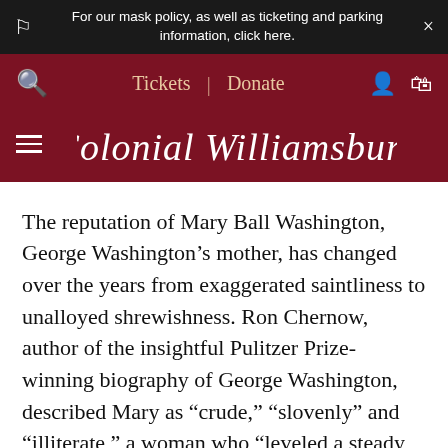For our mask policy, as well as ticketing and parking information, click here.
Tickets | Donate
Colonial Williamsburg
The reputation of Mary Ball Washington, George Washington's mother, has changed over the years from exaggerated saintliness to unalloyed shrewishness. Ron Chernow, author of the insightful Pulitzer Prize-winning biography of George Washington, described Mary as “chrude,” “slovenly” and “illiterate,” a woman who “leveled a steady stream of criticism” at her son.